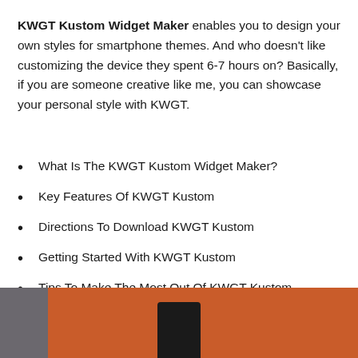KWGT Kustom Widget Maker enables you to design your own styles for smartphone themes. And who doesn't like customizing the device they spent 6-7 hours on? Basically, if you are someone creative like me, you can showcase your personal style with KWGT.
What Is The KWGT Kustom Widget Maker?
Key Features Of KWGT Kustom
Directions To Download KWGT Kustom
Getting Started With KWGT Kustom
Tips To Make The Most Out Of KWGT Kustom
[Figure (photo): Bottom portion of a smartphone on an orange/terracotta surface, with a dark phone visible in the center and a grey/blue element on the left side]